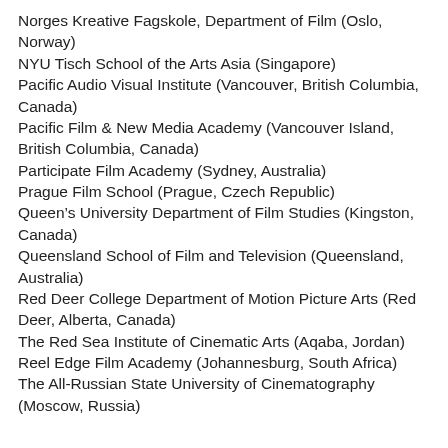Norges Kreative Fagskole, Department of Film (Oslo, Norway)
NYU Tisch School of the Arts Asia (Singapore)
Pacific Audio Visual Institute (Vancouver, British Columbia, Canada)
Pacific Film & New Media Academy (Vancouver Island, British Columbia, Canada)
Participate Film Academy (Sydney, Australia)
Prague Film School (Prague, Czech Republic)
Queen's University Department of Film Studies (Kingston, Canada)
Queensland School of Film and Television (Queensland, Australia)
Red Deer College Department of Motion Picture Arts (Red Deer, Alberta, Canada)
The Red Sea Institute of Cinematic Arts (Aqaba, Jordan)
Reel Edge Film Academy (Johannesburg, South Africa)
The All-Russian State University of Cinematography (Moscow, Russia)